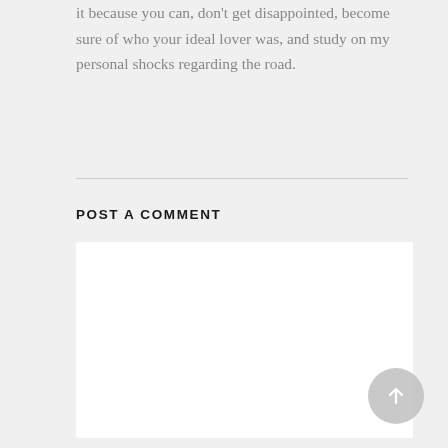it because you can, don't get disappointed, become sure of who your ideal lover was, and study on my personal shocks regarding the road.
POST A COMMENT
Write your comment here...
[Figure (other): Circular scroll-to-top button with an upward arrow icon]